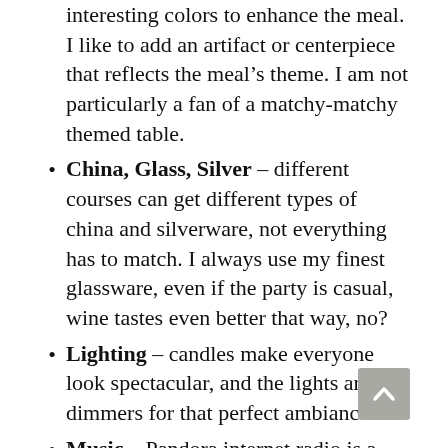interesting colors to enhance the meal. I like to add an artifact or centerpiece that reflects the meal's theme. I am not particularly a fan of a matchy-matchy themed table.
China, Glass, Silver – different courses can get different types of china and silverware, not everything has to match. I always use my finest glassware, even if the party is casual, wine tastes even better that way, no?
Lighting – candles make everyone look spectacular, and the lights are on dimmers for that perfect ambiance.
Music – Pandora internet radio is a perfect accompaniment to any party. Choose a genre that fits the mood and pipe the radio through your speakers. We chose “gipsy kings radio” with the Modern Southwest